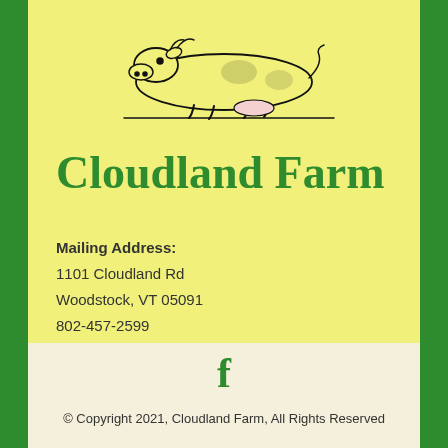[Figure (illustration): Black and white line drawing of a cow lying down, viewed from the front/side]
Cloudland Farm
Mailing Address:
1101 Cloudland Rd
Woodstock, VT 05091
802-457-2599
[Figure (logo): Facebook 'f' logo icon in green]
© Copyright 2021, Cloudland Farm, All Rights Reserved